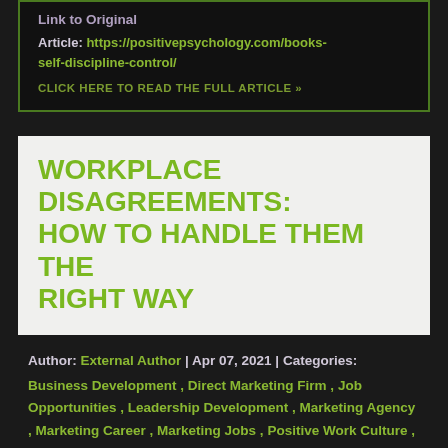Link to Original
Article: https://positivepsychology.com/books-self-discipline-control/
CLICK HERE TO READ THE FULL ARTICLE »
WORKPLACE DISAGREEMENTS: HOW TO HANDLE THEM THE RIGHT WAY
Author: External Author | Apr 07, 2021 | Categories: Business Development , Direct Marketing Firm , Job Opportunities , Leadership Development , Marketing Agency , Marketing Career , Marketing Jobs , Positive Work Culture , Sales Jobs , Skill Development